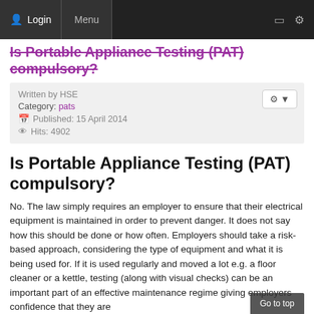Login  Menu
Is Portable Appliance Testing (PAT) compulsory?
Written by HSE
Category: pats
Published: 15 April 2014
Hits: 4902
Is Portable Appliance Testing (PAT) compulsory?
No. The law simply requires an employer to ensure that their electrical equipment is maintained in order to prevent danger. It does not say how this should be done or how often. Employers should take a risk-based approach, considering the type of equipment and what it is being used for. If it is used regularly and moved a lot e.g. a floor cleaner or a kettle, testing (along with visual checks) can be an important part of an effective maintenance regime giving employers confidence that they are